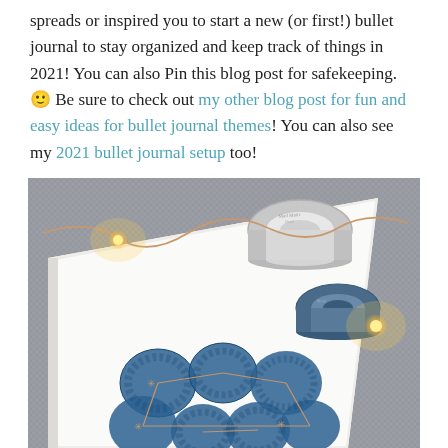spreads or inspired you to start a new (or first!) bullet journal to stay organized and keep track of things in 2021! You can also Pin this blog post for safekeeping. 🙂 Be sure to check out my other blog post for fun and easy ideas for bullet journal themes! You can also see my 2021 bullet journal setup too!
[Figure (photo): A bullet journal open on a gray fabric surface showing blue painted fingerprint/bubble shapes with rose gold constellation lines drawn on them. Two rolls of washi/masking tape (gray and blue) and fairy string lights with warm yellow glow are placed on top of the journal.]